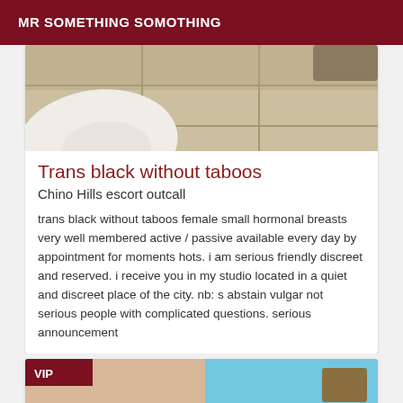MR SOMETHING SOMOTHING
[Figure (photo): Photo showing a tiled floor with a white cloth/fabric item, partially visible furniture]
Trans black without taboos
Chino Hills escort outcall
trans black without taboos female small hormonal breasts very well membered active / passive available every day by appointment for moments hots. i am serious friendly discreet and reserved. i receive you in my studio located in a quiet and discreet place of the city. nb: s abstain vulgar not serious people with complicated questions. serious announcement
[Figure (photo): Partial photo with VIP badge overlay, showing skin tones and blue background elements]